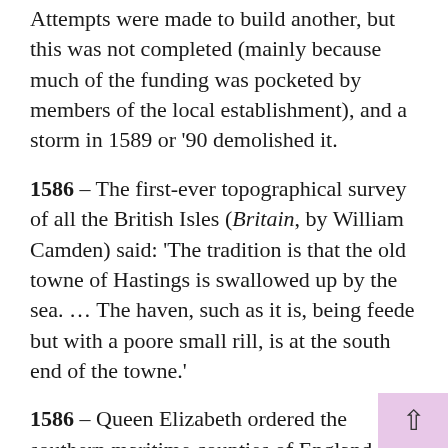Attempts were made to build another, but this was not completed (mainly because much of the funding was pocketed by members of the local establishment), and a storm in 1589 or '90 demolished it.
1586 – The first-ever topographical survey of all the British Isles (Britain, by William Camden) said: 'The tradition is that the old towne of Hastings is swallowed up by the sea. ... The haven, such as it is, being feede but with a poore small rill, is at the south end of the towne.'
1586 – Queen Elizabeth ordered the southern maritime counties of England, including Sussex, to prepare for the likely attempted invasion by